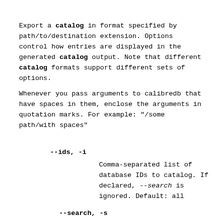Export a catalog in format specified by path/to/destination extension. Options control how entries are displayed in the generated catalog output. Note that different catalog formats support different sets of options.
Whenever you pass arguments to calibredb that have spaces in them, enclose the arguments in quotation marks. For example: "/some path/with spaces"
--ids, -i
    Comma-separated list of database IDs to catalog. If declared, --search is ignored. Default: all
--search, -s